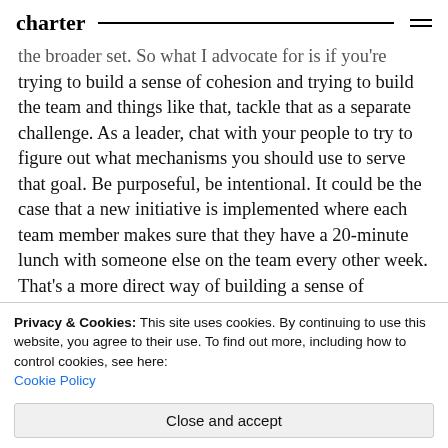charter
the broader set. So what I advocate for is if you're trying to build a sense of cohesion and trying to build the team and things like that, tackle that as a separate challenge. As a leader, chat with your people to try to figure out what mechanisms you should use to serve that goal. Be purposeful, be intentional. It could be the case that a new initiative is implemented where each team member makes sure that they have a 20-minute lunch with someone else on the team every other week. That's a more direct way of building a sense of connectedness. Just
Privacy & Cookies: This site uses cookies. By continuing to use this website, you agree to their use. To find out more, including how to control cookies, see here: Cookie Policy
Close and accept